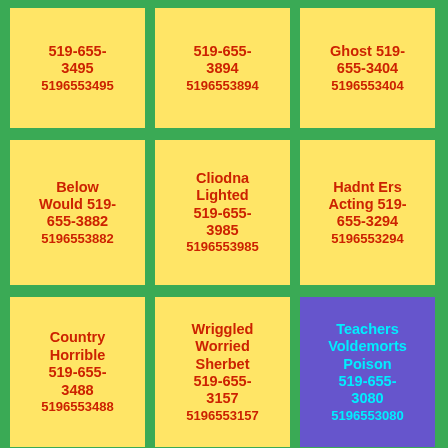519-655-3495 5196553495
519-655-3894 5196553894
Ghost 519-655-3404 5196553404
Below Would 519-655-3882 5196553882
Cliodna Lighted 519-655-3985 5196553985
Hadnt Ers Acting 519-655-3294 5196553294
Country Horrible 519-655-3488 5196553488
Wriggled Worried Sherbet 519-655-3157 5196553157
Teachers Voldemorts Poison 519-655-3080 5196553080
Free 519-655-3265 5196553265
Spells Sirius 519-655-3647 5196553647
Front 519-655-3447 5196553447